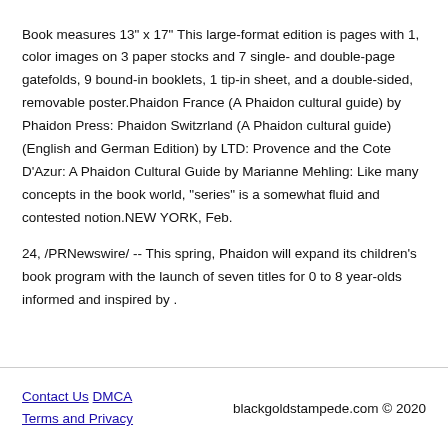Book measures 13" x 17" This large-format edition is pages with 1, color images on 3 paper stocks and 7 single- and double-page gatefolds, 9 bound-in booklets, 1 tip-in sheet, and a double-sided, removable poster.Phaidon France (A Phaidon cultural guide) by Phaidon Press: Phaidon Switzrland (A Phaidon cultural guide) (English and German Edition) by LTD: Provence and the Cote D'Azur: A Phaidon Cultural Guide by Marianne Mehling: Like many concepts in the book world, "series" is a somewhat fluid and contested notion.NEW YORK, Feb.

24, /PRNewswire/ -- This spring, Phaidon will expand its children's book program with the launch of seven titles for 0 to 8 year-olds informed and inspired by .
Contact Us   DMCA   Terms and Privacy   blackgoldstampede.com © 2020